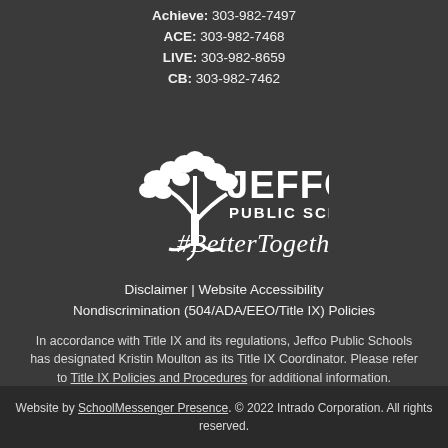Achieve: 303-982-7497
ACE: 303-982-7468
LIVE: 303-982-8659
CB: 303-982-7462
[Figure (logo): Jeffco Public Schools logo with tree graphic and #BetterTogether tagline]
Disclaimer | Website Accessibility
Nondiscrimination (504/ADA/EEO/Title IX) Policies
In accordance with Title IX and its regulations, Jeffco Public Schools has designated Kristin Moulton as its Title IX Coordinator. Please refer to Title IX Policies and Procedures for additional information.
Website by SchoolMessenger Presence. © 2022 Intrado Corporation. All rights reserved.